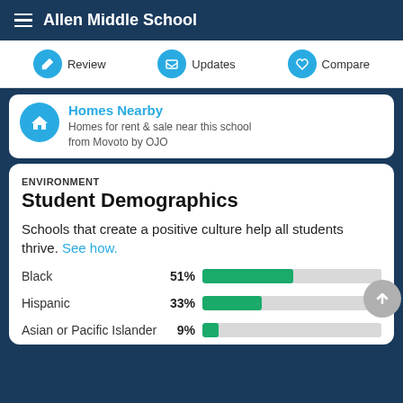Allen Middle School
Review | Updates | Compare
Homes Nearby
Homes for rent & sale near this school from Movoto by OJO
ENVIRONMENT
Student Demographics
Schools that create a positive culture help all students thrive. See how.
[Figure (bar-chart): Student Demographics]